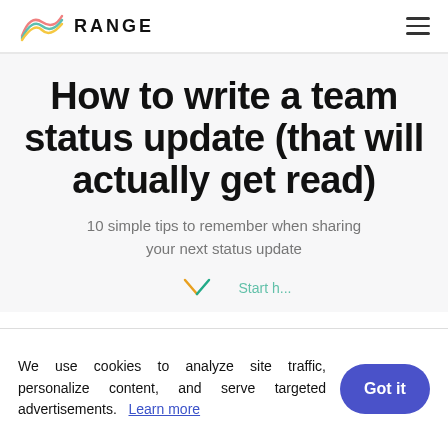RANGE
How to write a team status update (that will actually get read)
10 simple tips to remember when sharing your next status update
We use cookies to analyze site traffic, personalize content, and serve targeted advertisements.    Learn more
Got it